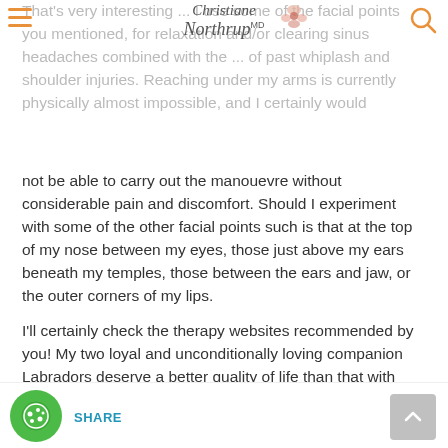Christiane Northrup MD
That's very interesting ... I use some of the facial points you mentioned, for relaxation and/or clearing sinus headaches combined with the ... of past whiplash and shoulder injuries. Reaching under my arms is currently physically almost impossible, and I certainly would not be able to carry out the manouevre without considerable pain and discomfort. Should I experiment with some of the other facial points such is that at the top of my nose between my eyes, those just above my ears beneath my temples, those between the ears and jaw, or the outer corners of my lips.
I'll certainly check the therapy websites recommended by you! My two loyal and unconditionally loving companion Labradors deserve a better quality of life than that with which I am currently providing them … and I,m sure that would have a flow-on effect.
Regards,
G.
SHARE